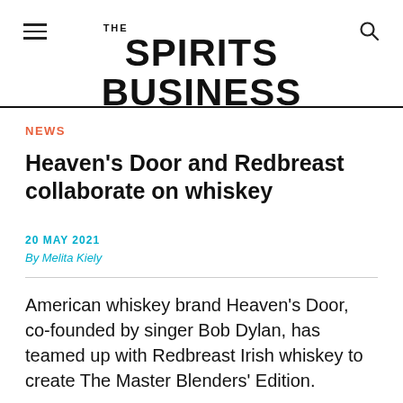THE SPIRITS BUSINESS
NEWS
Heaven's Door and Redbreast collaborate on whiskey
20 MAY 2021
By Melita Kiely
American whiskey brand Heaven's Door, co-founded by singer Bob Dylan, has teamed up with Redbreast Irish whiskey to create The Master Blenders' Edition.